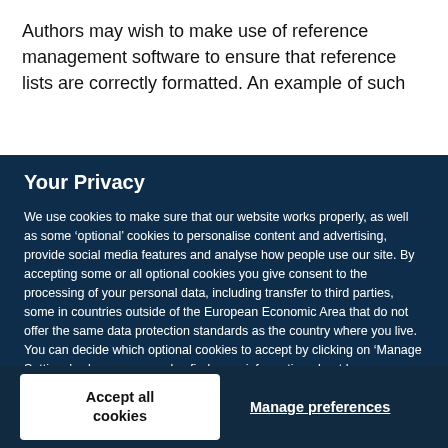Authors may wish to make use of reference management software to ensure that reference lists are correctly formatted. An example of such
Your Privacy
We use cookies to make sure that our website works properly, as well as some ‘optional’ cookies to personalise content and advertising, provide social media features and analyse how people use our site. By accepting some or all optional cookies you give consent to the processing of your personal data, including transfer to third parties, some in countries outside of the European Economic Area that do not offer the same data protection standards as the country where you live. You can decide which optional cookies to accept by clicking on ‘Manage Settings’, where you can also find more information about how your personal data is processed. Further information can be found in our privacy policy.
Accept all cookies
Manage preferences